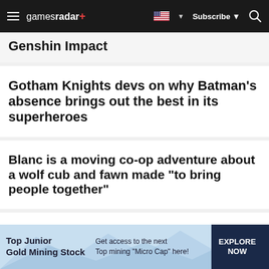gamesradar+ — Subscribe — Search
Genshin Impact
Gotham Knights devs on why Batman's absence brings out the best in its superheroes
Blanc is a moving co-op adventure about a wolf cub and fawn made "to bring people together"
The Thirsty Suitors demo let me live out my
[Figure (screenshot): Advertisement banner for Top Junior Gold Mining Stock with text: Get access to the next Top mining "Micro Cap" here! EXPLORE NOW]